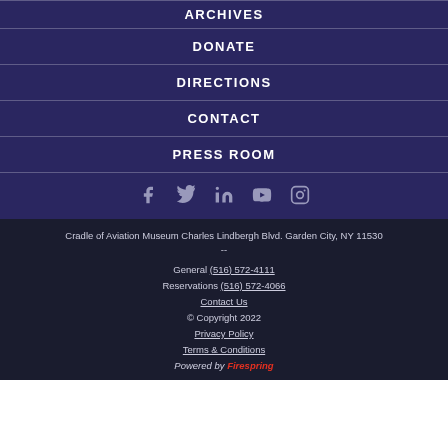ARCHIVES
DONATE
DIRECTIONS
CONTACT
PRESS ROOM
[Figure (other): Social media icons: Facebook, Twitter, LinkedIn, YouTube, Instagram]
Cradle of Aviation Museum Charles Lindbergh Blvd. Garden City, NY 11530 --
General (516) 572-4111
Reservations (516) 572-4066
Contact Us
© Copyright 2022
Privacy Policy
Terms & Conditions
Powered by Firespring